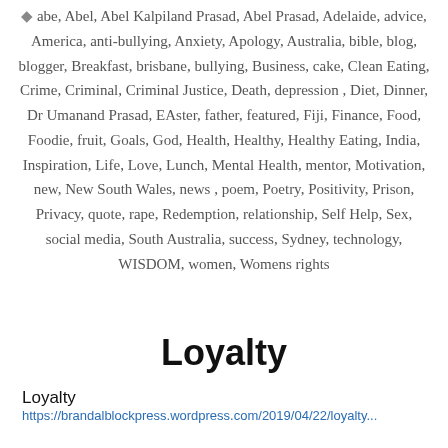abe, Abel, Abel Kalpiland Prasad, Abel Prasad, Adelaide, advice, America, anti-bullying, Anxiety, Apology, Australia, bible, blog, blogger, Breakfast, brisbane, bullying, Business, cake, Clean Eating, Crime, Criminal, Criminal Justice, Death, depression, Diet, Dinner, Dr Umanand Prasad, EAster, father, featured, Fiji, Finance, Food, Foodie, fruit, Goals, God, Health, Healthy, Healthy Eating, India, Inspiration, Life, Love, Lunch, Mental Health, mentor, Motivation, new, New South Wales, news, poem, Poetry, Positivity, Prison, Privacy, quote, rape, Redemption, relationship, Self Help, Sex, social media, South Australia, success, Sydney, technology, WISDOM, women, Womens rights
Loyalty
Loyalty
https://brandalblockpress.wordpress.com/2019/04/22/loyalty...